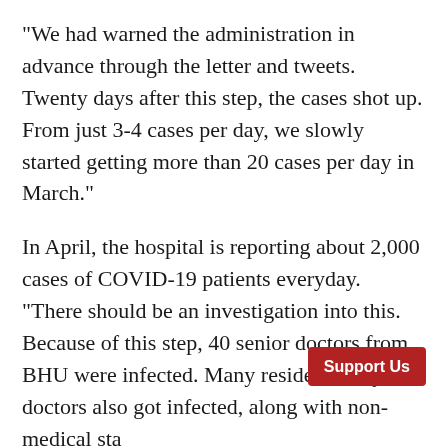“We had warned the administration in advance through the letter and tweets. Twenty days after this step, the cases shot up. From just 3-4 cases per day, we slowly started getting more than 20 cases per day in March.”
In April, the hospital is reporting about 2,000 cases of COVID-19 patients everyday. “There should be an investigation into this. Because of this step, 40 senior doctors from BHU were infected. Many resident and junior doctors also got infected, along with non-medical staff of the hospital,” Shankar told The Wire.
The hospital says they have 360 beds and 90 ICU beds, but Shankar says there is no space in the